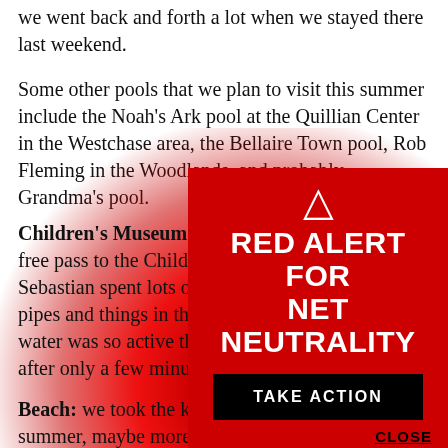we went back and forth a lot when we stayed there last weekend.
Some other pools that we plan to visit this summer include the Noah's Ark pool at the Quillian Center in the Westchase area, the Bellaire Town pool, Rob Fleming in the Woodlands, and probably Grandma's pool.
Children's Museum Flow Works: we had a free pass to the Children's Museum and Sebastian spent lots of time playing with the pipes and things in the flow works area, and the water was so active that his shirt was quite wet after only a few minutes of playing there.
[Figure (infographic): Red alert overlay banner for Net Neutrality with warning triangle, 'RED ALERT FOR NET NEUTRALITY' text in white, a black 'TAKE ACTION' button, and a 'CLOSE' link at bottom right.]
Beach: we took the kids to the beach once this summer, maybe more planned. Sebastian loved it and was quite happy...